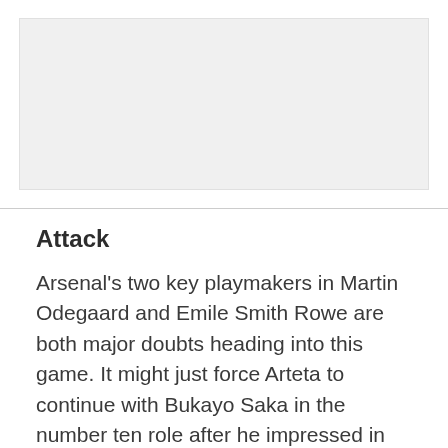[Figure (photo): Image placeholder area (gray background, content not visible)]
Attack
Arsenal's two key playmakers in Martin Odegaard and Emile Smith Rowe are both major doubts heading into this game. It might just force Arteta to continue with Bukayo Saka in the number ten role after he impressed in the last game.
The Spaniard does have Pierre-Emerick Aubameyang available, which means the Gabonese international should slot into the